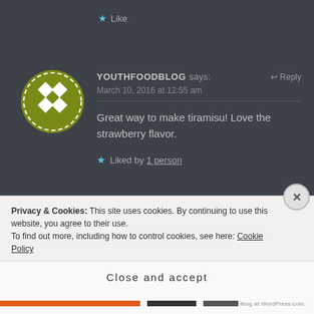★ Like
YOUTHFOODBLOG says:
↩ Reply
March 10, 2016 at 12:55 am
Great way to make tiramisu! Love the strawberry flavor.
★ Liked by 1 person
Privacy & Cookies: This site uses cookies. By continuing to use this website, you agree to their use.
To find out more, including how to control cookies, see here: Cookie Policy
Close and accept